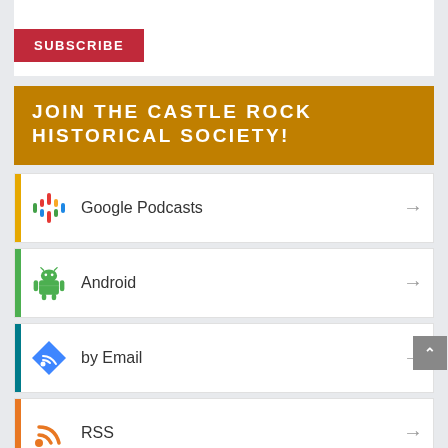SUBSCRIBE
JOIN THE CASTLE ROCK HISTORICAL SOCIETY!
Google Podcasts
Android
by Email
RSS
STRANGEFUL THINGS!